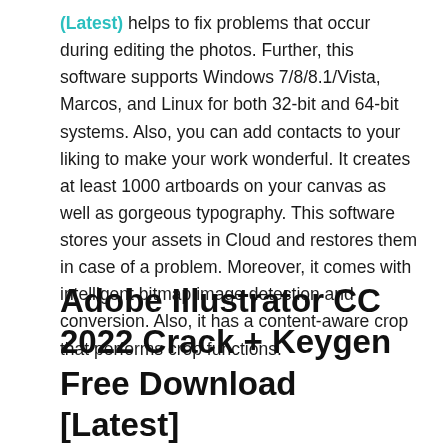(Latest) helps to fix problems that occur during editing the photos. Further, this software supports Windows 7/8/8.1/Vista, Marcos, and Linux for both 32-bit and 64-bit systems. Also, you can add contacts to your liking to make your work wonderful. It creates at least 1000 artboards on your canvas as well as gorgeous typography. This software stores your assets in Cloud and restores them in case of a problem. Moreover, it comes with intelligent bitmap image detection and conversion. Also, it has a content-aware crop that performs crop functions.
Adobe Illustrator CC 2022 Crack + Keygen Free Download [Latest]